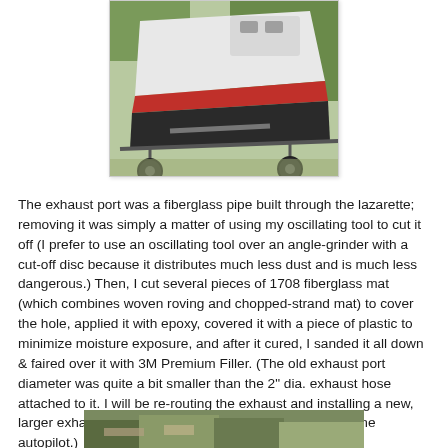[Figure (photo): Photograph of a boat on a trailer, showing the hull, red stripe, and surrounding trees/yard area.]
The exhaust port was a fiberglass pipe built through the lazarette; removing it was simply a matter of using my oscillating tool to cut it off (I prefer to use an oscillating tool over an angle-grinder with a cut-off disc because it distributes much less dust and is much less dangerous.) Then, I cut several pieces of 1708 fiberglass mat (which combines woven roving and chopped-strand mat) to cover the hole, applied it with epoxy, covered it with a piece of plastic to minimize moisture exposure, and after it cured, I sanded it all down & faired over it with 3M Premium Filler. (The old exhaust port diameter was quite a bit smaller than the 2" dia. exhaust hose attached to it. I will be re-routing the exhaust and installing a new, larger exhaust port after I install the below-deck Raymarine autopilot.)
[Figure (photo): Partial photograph visible at the bottom of the page, showing an outdoor scene near a boat.]